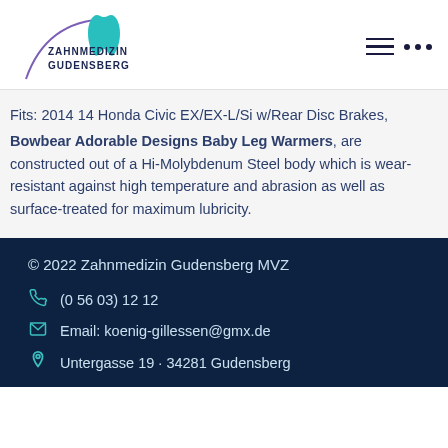[Figure (logo): Zahnmedizin Gudensberg logo with teal tooth icon and purple arc]
Fits: 2014 14 Honda Civic EX/EX-L/Si w/Rear Disc Brakes, Bowbear Adorable Designs Baby Leg Warmers, are constructed out of a Hi-Molybdenum Steel body which is wear-resistant against high temperature and abrasion as well as surface-treated for maximum lubricity.
© 2022 Zahnmedizin Gudensberg MVZ | (0 56 03) 12 12 | Email: koenig-gillessen@gmx.de | Untergasse 19 · 34281 Gudensberg